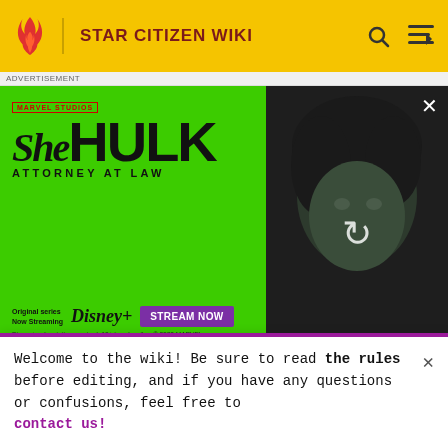STAR CITIZEN WIKI
[Figure (screenshot): She-Hulk: Attorney at Law advertisement banner. Green background with She-Hulk logo, Disney+ branding, STREAM NOW button, and a dark photo of the She-Hulk character on the right side. Shows 'Original series Now Streaming' text.]
| Hull D | Capital | Heavy Freight |  |  |
| Hull E | Capital | Heavy Freight |  |  |
Welcome to the wiki! Be sure to read the rules before editing, and if you have any questions or confusions, feel free to contact us!